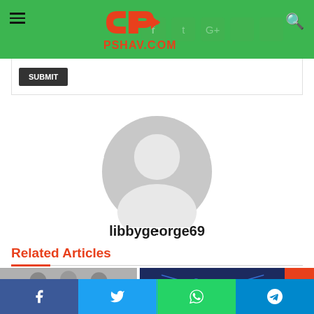PSHAV.COM
[Figure (illustration): Gray default avatar/profile icon — silhouette of a person in a circle]
libbygeorge69
Related Articles
[Figure (photo): Small thumbnail images of article previews — person and a blue digital network graphic]
Facebook | Twitter | WhatsApp | Telegram share buttons